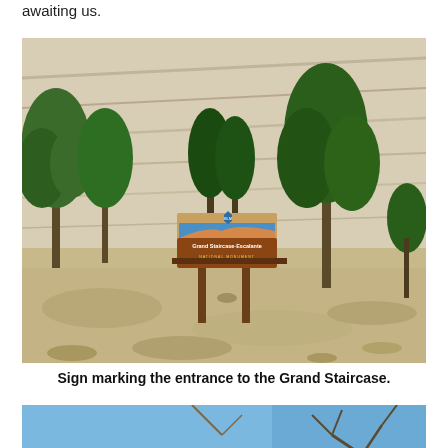awaiting us.
[Figure (photo): Photo of a Grand Staircase-Escalante National Monument entrance sign in a rocky desert landscape with pine trees and sandstone cliffs in the background.]
Sign marking the entrance to the Grand Staircase.
[Figure (photo): Partial photo showing blue sky and a bare tree branch, with an orange back-to-top button overlay in the bottom right corner.]